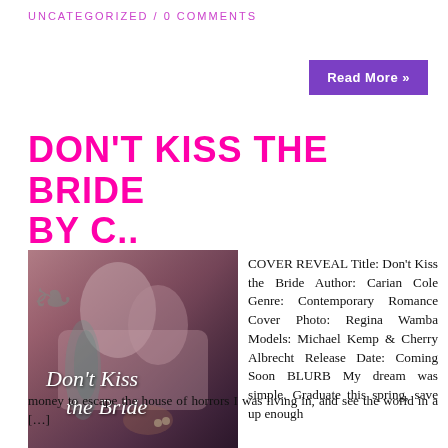UNCATEGORIZED / 0 COMMENTS
Read More »
DON'T KISS THE BRIDE BY C..
[Figure (illustration): Book cover for Don't Kiss the Bride showing a couple, with cursive script title overlay]
COVER REVEAL Title: Don't Kiss the Bride Author: Carian Cole Genre: Contemporary Romance Cover Photo: Regina Wamba Models: Michael Kemp & Cherry Albrecht Release Date: Coming Soon BLURB My dream was simple. Graduate this spring, save up enough money to escape the house of horrors I was living in, and see the world in a […]